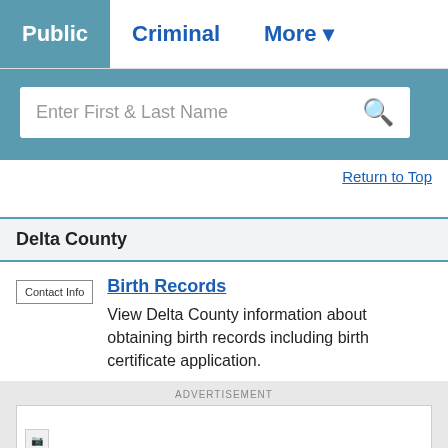Public | Criminal | More
Enter First & Last Name
Return to Top
Delta County
Contact Info
Birth Records
View Delta County information about obtaining birth records including birth certificate application.
ADVERTISEMENT